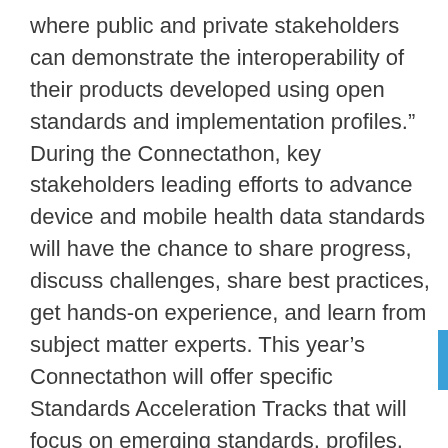where public and private stakeholders can demonstrate the interoperability of their products developed using open standards and implementation profiles.”  During the Connectathon, key stakeholders leading efforts to advance device and mobile health data standards will have the chance to share progress, discuss challenges, share best practices, get hands-on experience, and learn from subject matter experts. This year’s Connectathon will offer specific Standards Acceleration Tracks that will focus on emerging standards, profiles, and implementation guides (yes, of course HL7 Fast Healthcare Interoperability Resources (FHIR®)!) in